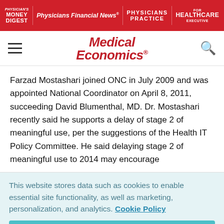Physician's Money Digest | Physicians Financial News | Physicians Practice | Healthcare Executive
[Figure (logo): Medical Economics logo in red italic text]
Farzad Mostashari joined ONC in July 2009 and was appointed National Coordinator on April 8, 2011, succeeding David Blumenthal, MD. Dr. Mostashari recently said he supports a delay of stage 2 of meaningful use, per the suggestions of the Health IT Policy Committee. He said delaying stage 2 of meaningful use to 2014 may encourage
This website stores data such as cookies to enable essential site functionality, as well as marketing, personalization, and analytics. Cookie Policy
Accept
Deny